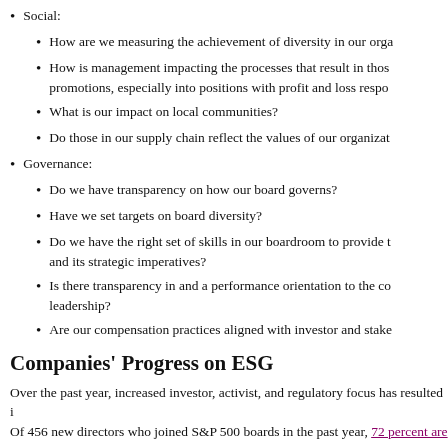Social:
How are we measuring the achievement of diversity in our orga…
How is management impacting the processes that result in those promotions, especially into positions with profit and loss respo…
What is our impact on local communities?
Do those in our supply chain reflect the values of our organizat…
Governance:
Do we have transparency on how our board governs?
Have we set targets on board diversity?
Do we have the right set of skills in our boardroom to provide t… and its strategic imperatives?
Is there transparency in and a performance orientation to the co… leadership?
Are our compensation practices aligned with investor and stake…
Companies' Progress on ESG
Over the past year, increased investor, activist, and regulatory focus has resulted i… Of 456 new directors who joined S&P 500 boards in the past year, 72 percent are w… companies, for example, have shifted strategy relative to net-zero carbon emission…
Some of the largest car manufacturers have declared electric vehicle production go… —have committed to significant investment in historically Black colleges and univ…